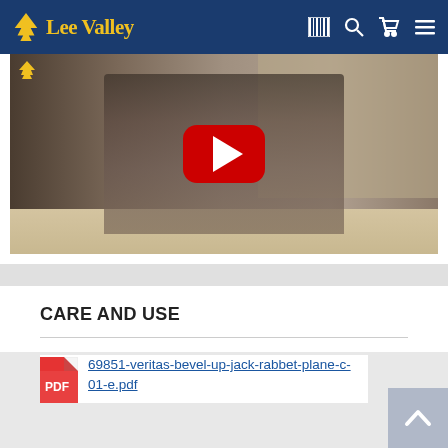Lee Valley
[Figure (screenshot): YouTube video thumbnail showing a man in a plaid shirt using a hand plane (Veritas Bevel-Up Jack Rabbet Plane) on a wooden workbench in a workshop with tools on shelves in the background. A large red YouTube play button is overlaid in the center.]
CARE AND USE
69851-veritas-bevel-up-jack-rabbet-plane-c-01-e.pdf